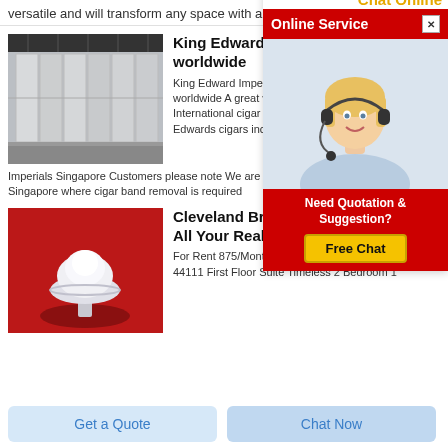versatile and will transform any space with a distinctive new look
[Figure (photo): Warehouse with large white/grey panels stacked in rows]
King Edward cigars worldwide
King Edward Imperial C worldwide A great value International cigar deliv Edwards cigars includir Imperials Singapore Customers please note We are no Singapore where cigar band removal is required
[Figure (photo): Online Service chat agent overlay ad with blonde woman wearing headset, Chat Online header in orange, red Online Service bar, Need Quotation & Suggestion? text, Free Chat button]
[Figure (photo): White powder substance in a glass dish on red background]
Cleveland Bricks One Solution For All Your Real Estate Needs
For Rent 875/Month 10616 Bernard Ave Cleveland OH 44111 First Floor Suite Timeless 2 Bedroom 1
Get a Quote
Chat Now